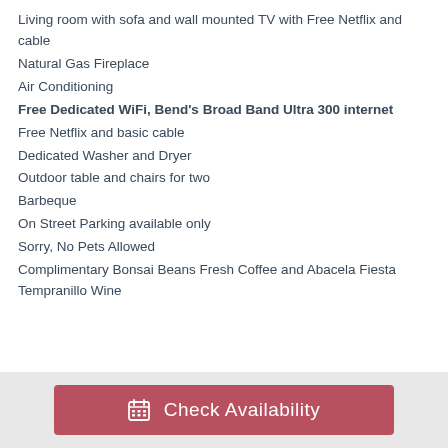Living room with sofa and wall mounted TV with Free Netflix and cable
Natural Gas Fireplace
Air Conditioning
Free Dedicated WiFi, Bend's Broad Band Ultra 300 internet
Free Netflix and basic cable
Dedicated Washer and Dryer
Outdoor table and chairs for two
Barbeque
On Street Parking available only
Sorry, No Pets Allowed
Complimentary Bonsai Beans Fresh Coffee and Abacela Fiesta Tempranillo Wine
Check Availability